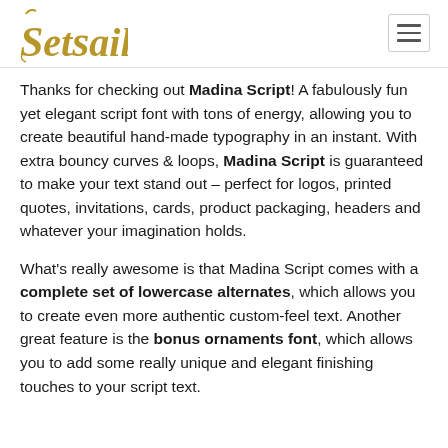Setsail [logo]
Thanks for checking out Madina Script! A fabulously fun yet elegant script font with tons of energy, allowing you to create beautiful hand-made typography in an instant. With extra bouncy curves & loops, Madina Script is guaranteed to make your text stand out – perfect for logos, printed quotes, invitations, cards, product packaging, headers and whatever your imagination holds.
What's really awesome is that Madina Script comes with a complete set of lowercase alternates, which allows you to create even more authentic custom-feel text. Another great feature is the bonus ornaments font, which allows you to add some really unique and elegant finishing touches to your script text.